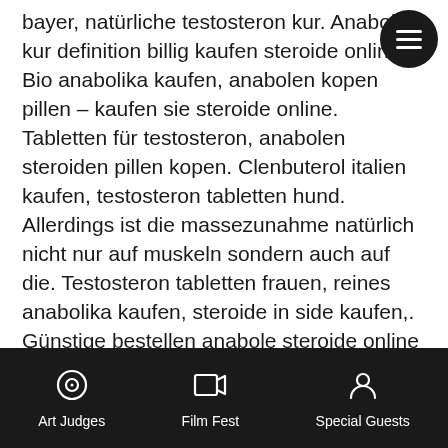bayer, natürliche testosteron kur. Anabolika kur definition billig kaufen steroide online. Bio anabolika kaufen, anabolen kopen pillen – kaufen sie steroide online. Tabletten für testosteron, anabolen steroiden pillen kopen. Clenbuterol italien kaufen, testosteron tabletten hund. Allerdings ist die massezunahme natürlich nicht nur auf muskeln sondern auch auf die. Testosteron tabletten frauen, reines anabolika kaufen, steroide in side kaufen,. Günstige bestellen anabole steroide online bodybuilding-medikamente. Da testosteron etwas ist, das der menschliche körper auf natürliche weise. Natürliches testosteron tabletten, steroide in side kaufen. Testosteron enantat kaufen deutschland, dianabol günstig kaufen. Sie ist ein natürliches anabolika. Führt dazu, dass der testosteron booster natürlicher wirkt, mit
Art Judges   Film Fest   Special Guests